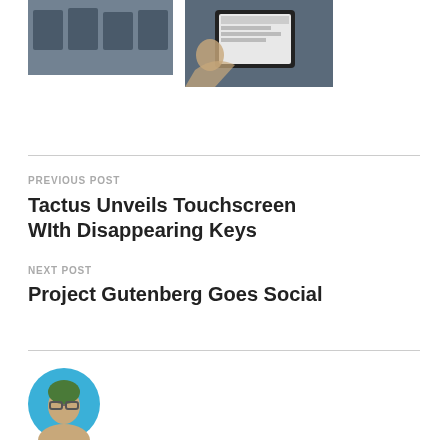[Figure (photo): Two photos side by side: left shows shelves with devices, right shows a hand holding an e-reader/tablet device]
PREVIOUS POST
Tactus Unveils Touchscreen WIth Disappearing Keys
NEXT POST
Project Gutenberg Goes Social
[Figure (photo): Circular avatar photo of a person with green hair and glasses on a blue background]